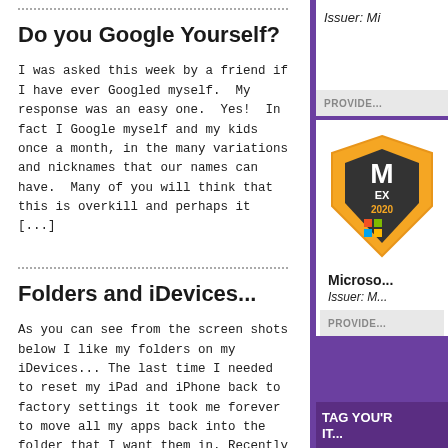Do you Google Yourself?
I was asked this week by a friend if I have ever Googled myself.  My response was an easy one.  Yes!  In fact I Google myself and my kids once a month, in the many variations and nicknames that our names can have.  Many of you will think that this is overkill and perhaps it [...]
Folders and iDevices...
As you can see from the screen shots below I like my folders on my iDevices... The last time I needed to reset my iPad and iPhone back to factory settings it took me forever to move all my apps back into the folder that I want them in. Recently I needed to reset my [...]
Issuer: M...
PROVIDE...
[Figure (logo): Microsoft badge logo with gold shield shape, 'M EX 2020' text and colorful Windows logo]
Microso...
Issuer: M...
PROVIDE...
TAG YOU'R IT...